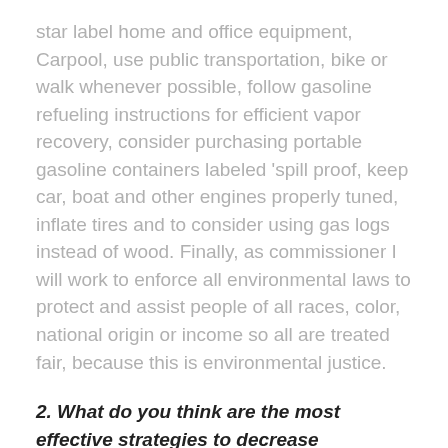star label home and office equipment, Carpool, use public transportation, bike or walk whenever possible, follow gasoline refueling instructions for efficient vapor recovery, consider purchasing portable gasoline containers labeled 'spill proof, keep car, boat and other engines properly tuned, inflate tires and to consider using gas logs instead of wood. Finally, as commissioner I will work to enforce all environmental laws to protect and assist people of all races, color, national origin or income so all are treated fair, because this is environmental justice.
2. What do you think are the most effective strategies to decrease transportation-related air pollution in Harris County? What is your position on the North Houston Highway Improvement Project (NHHIP)?
There are five things we can do 1. develop cleaner travel